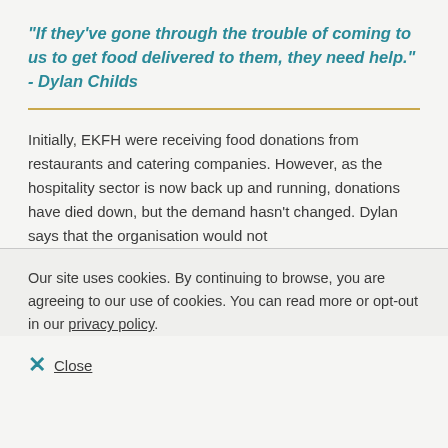“If they’ve gone through the trouble of coming to us to get food delivered to them, they need help.”  - Dylan Childs
Initially, EKFH were receiving food donations from restaurants and catering companies. However, as the hospitality sector is now back up and running, donations have died down, but the demand hasn’t changed. Dylan says that the organisation would not
Our site uses cookies. By continuing to browse, you are agreeing to our use of cookies. You can read more or opt-out in our privacy policy.
Close